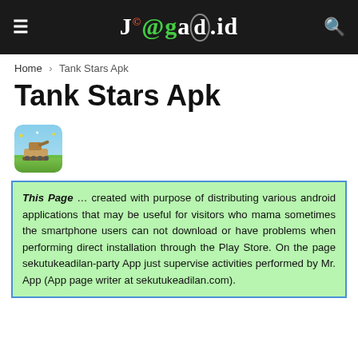J@gad.id
Home › Tank Stars Apk
Tank Stars Apk
[Figure (illustration): Tank Stars app icon - colorful game icon with tank imagery]
This Page … created with purpose of distributing various android applications that may be useful for visitors who mama sometimes the smartphone users can not download or have problems when performing direct installation through the Play Store. On the page sekutukeadilan-party App just supervise activities performed by Mr. App (App page writer at sekutukeadilan.com).